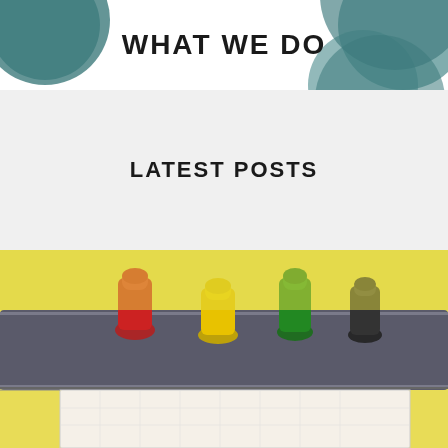[Figure (photo): Top banner with text 'WHAT WE DO' overlaid on teal/dark circles, white background]
LATEST POSTS
[Figure (photo): Photo of a board game with colorful pawns (red, yellow, green, black) on a dark track, with a score sheet visible below, bright yellow blurred background]